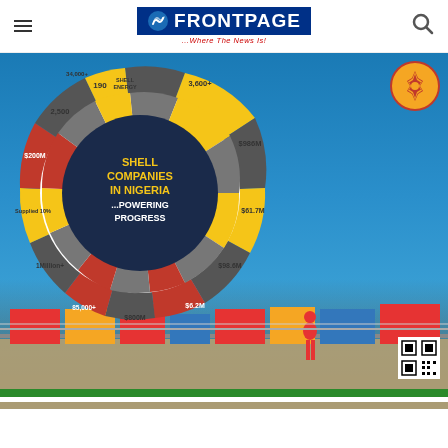FRONTPAGE ...Where The News Is!
[Figure (infographic): Shell Companies in Nigeria ...Powering Progress infographic wheel showing statistics: 3,600+ Experts trained on Oloibiri health programme in 2021; $986M Paid in Taxes & Royalties in 2021; $61.7M Paid to Niger Delta Development Commission (NDDC) in 2021; $98.6M Disbursed to host communities since 2016; $6.2M Spent on Scholarships in 2021; $800M Contracts to Nigeria-registered companies in 2021; 85,000+ People are able in community health insurance programme in Niger Delta since 2013; 1Million+ Beneficiaries of eHealth solution since 2014; Supplied 10% of Nigeria's domestic gas in 2021; $200M Spent to support All Climate renewable energy impact investments; 2,500 Employees (75% Nigerians) & 6,000 contractors; 190 Nigerian beneficiaries of Shell and PIND enterprise development programme; 34,000+ Actions delivered at Clive Cottage Hospital since 2014. Center text: SHELL COMPANIES IN NIGERIA ...POWERING PROGRESS. Shell logo in top right. Background shows offshore oil platform with worker in red coveralls.]